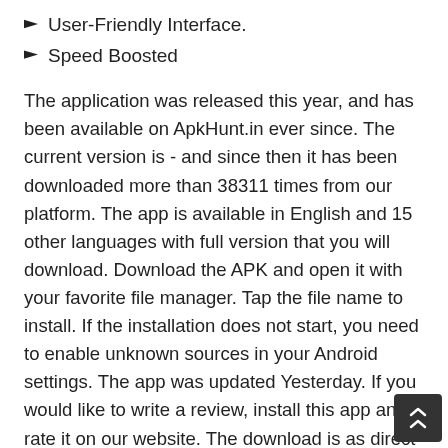User-Friendly Interface.
Speed Boosted
The application was released this year, and has been available on ApkHunt.in ever since. The current version is - and since then it has been downloaded more than 38311 times from our platform. The app is available in English and 15 other languages with full version that you will download. Download the APK and open it with your favorite file manager. Tap the file name to install. If the installation does not start, you need to enable unknown sources in your Android settings. The app was updated Yesterday. If you would like to write a review, install this app and rate it on our website. The download is as direct as our speed and we provide direct links to all available versions for free. Please note that we provide both basic and pure APK files and faster download speeds for it. You can also download This App Apk